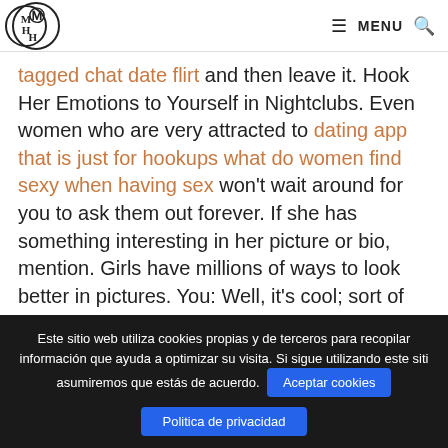MH logo | MENU
tagged chat date flirt and then leave it. Hook Her Emotions to Yourself in Nightclubs. Even women who are very attracted to dating app that is just for hookups what do women find sexy when having sex won't wait around for you to ask them out forever. If she has something interesting in her picture or bio, mention. Girls have millions of ways to look better in pictures. You: Well, it's cool; sort of like taking a time machine back to simpler times. Share Tweet. You never know where or when you might meet a girl who would be open to a night out with you if you play your cards right. Simple lines often work best. Don't stare. Dude, you
Este sitio web utiliza cookies propias y de terceros para recopilar información que ayuda a optimizar su visita. Si sigue utilizando este sitio asumiremos que estás de acuerdo. Aceptar cookies Politica de privacidad